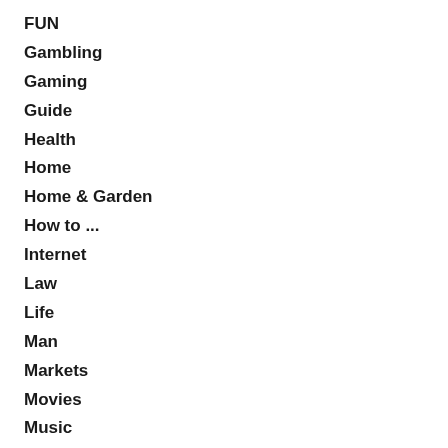FUN
Gambling
Gaming
Guide
Health
Home
Home & Garden
How to ...
Internet
Law
Life
Man
Markets
Movies
Music